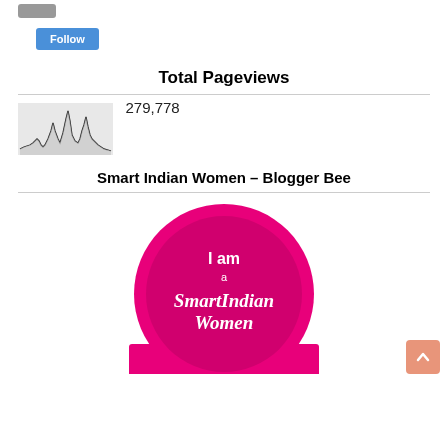[Figure (other): Partially visible avatar/profile image thumbnail at top left]
[Figure (other): Blue Follow button]
Total Pageviews
[Figure (continuous-plot): Small sparkline/area chart showing pageview history over time, with spiky peaks]
279,778
Smart Indian Women - Blogger Bee
[Figure (illustration): Smart Indian Women Blogger Bee badge - circular pink badge with text 'I am a SmartIndian Women Blogger Bee' with pink ribbon banner at bottom]